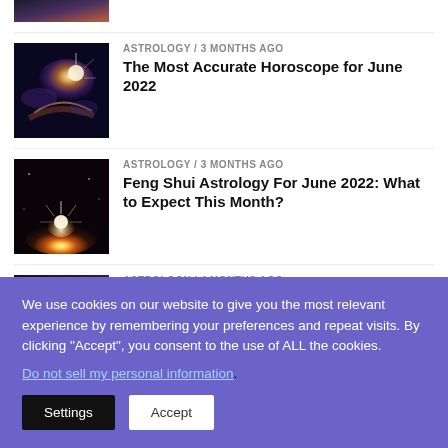[Figure (photo): Partial thumbnail of space/planet image at top, cropped]
[Figure (photo): Space/Earth image with light burst, thumbnail for horoscope article]
ASTROLOGY / 3 months ago
The Most Accurate Horoscope for June 2022
[Figure (photo): Planet/sunrise image thumbnail for Feng Shui article]
ASTROLOGY / 3 months ago
Feng Shui Astrology For June 2022: What to Expect This Month?
[Figure (photo): Partial thumbnail for third article]
ASTROLOGY / 4 months ago
We use cookies on our website to give you the most relevant experience by remembering your preferences and repeat visits. By clicking “Accept”, you consent to the use of ALL the cookies.
Do not sell my personal information.